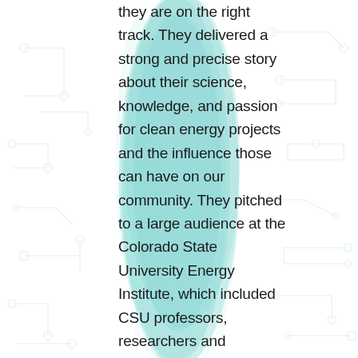[Figure (illustration): Teal watercolor brush stroke background with light circuit board pattern on white background]
they are on the right track. They delivered a strong and precise story about their science, knowledge, and passion for clean energy projects and the influence those can have on our community. They pitched to a large audience at the Colorado State University Energy Institute, which included CSU professors, researchers and community